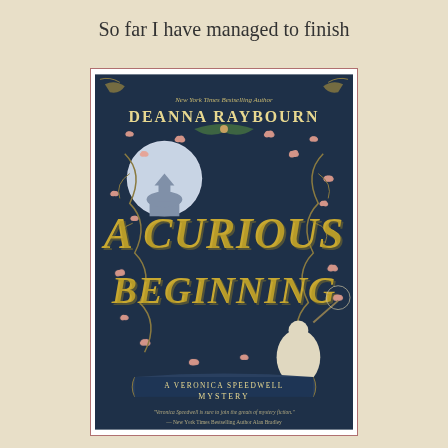So far I have managed to finish
[Figure (illustration): Book cover of 'A Curious Beginning' by Deanna Raybourn. Dark navy/teal background with ornate gold and pink floral and butterfly decorations. Large gold embossed title text 'A Curious Beginning' dominates the center. Author name 'Deanna Raybourn' at top with 'New York Times Bestselling Author' above it. White circular moon on left with silhouette of buildings. Victorian woman figure with butterfly net in lower right. Banner at bottom reads 'A Veronica Speedwell Mystery'. Small quote at very bottom: '"Veronica Speedwell is sure to join the greats of mystery fiction." — New York Times Bestselling Author Alan Bradley']